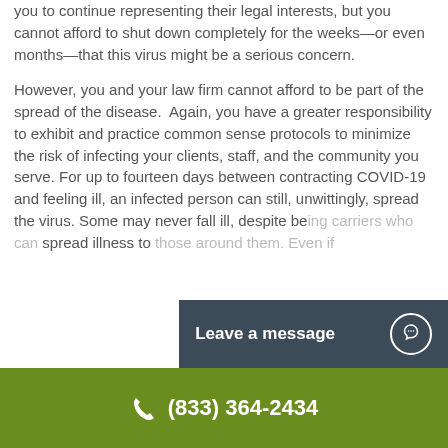you to continue representing their legal interests, but you cannot afford to shut down completely for the weeks—or even months—that this virus might be a serious concern.
However, you and your law firm cannot afford to be part of the spread of the disease. Again, you have a greater responsibility to exhibit and practice common sense protocols to minimize the risk of infecting your clients, staff, and the community you serve. For up to fourteen days between contracting COVID-19 and feeling ill, an infected person can still, unwittingly, spread the virus. Some may never fall ill, despite being carriers who can spread illness to those around them. Even if
Leave a message
(833) 364-2434